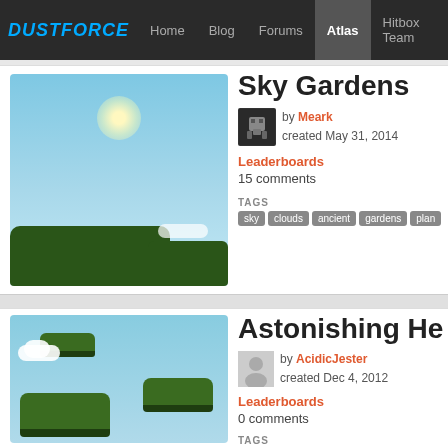Dustforce | Home | Blog | Forums | Atlas | Hitbox Team
Sky Gardens
by Meark
created May 31, 2014
Leaderboards
15 comments
TAGS
sky  clouds  ancient  gardens  plan...
[Figure (screenshot): Sky Gardens map thumbnail showing blue sky, sun, and green trees at bottom]
Astonishing He...
by AcidicJester
created Dec 4, 2012
Leaderboards
0 comments
TAGS
clouds  deathmatch  building  sky
[Figure (screenshot): Astonishing map thumbnail showing floating islands with trees against blue sky]